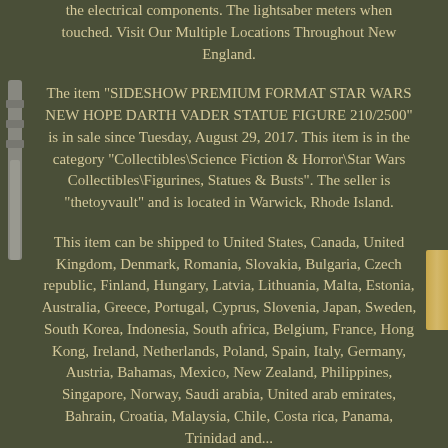the electrical components. The lightsaber meters when touched. Visit Our Multiple Locations Throughout New England.
The item "SIDESHOW PREMIUM FORMAT STAR WARS NEW HOPE DARTH VADER STATUE FIGURE 210/2500" is in sale since Tuesday, August 29, 2017. This item is in the category "Collectibles\Science Fiction & Horror\Star Wars Collectibles\Figurines, Statues & Busts". The seller is "thetoyvault" and is located in Warwick, Rhode Island.
This item can be shipped to United States, Canada, United Kingdom, Denmark, Romania, Slovakia, Bulgaria, Czech republic, Finland, Hungary, Latvia, Lithuania, Malta, Estonia, Australia, Greece, Portugal, Cyprus, Slovenia, Japan, Sweden, South Korea, Indonesia, South africa, Belgium, France, Hong Kong, Ireland, Netherlands, Poland, Spain, Italy, Germany, Austria, Bahamas, Mexico, New Zealand, Philippines, Singapore, Norway, Saudi arabia, United arab emirates, Bahrain, Croatia, Malaysia, Chile, Costa rica, Panama, Trinidad and...